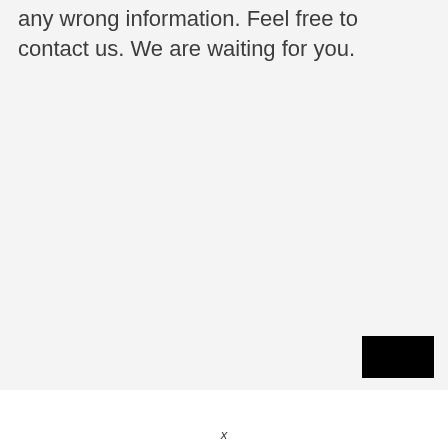any wrong information. Feel free to contact us. We are waiting for you.
x